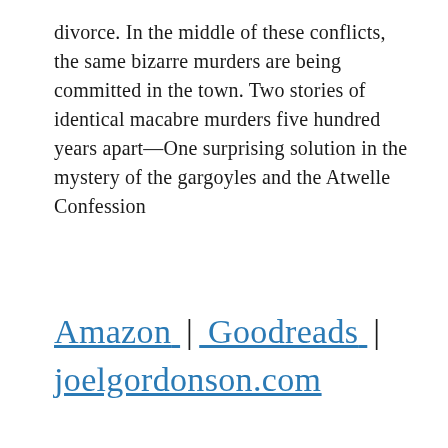divorce. In the middle of these conflicts, the same bizarre murders are being committed in the town. Two stories of identical macabre murders five hundred years apart—One surprising solution in the mystery of the gargoyles and the Atwelle Confession
Amazon | Goodreads | joelgordonson.com